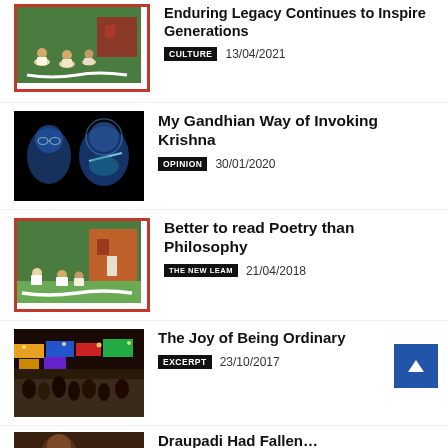[Figure (illustration): Traditional Indian painting showing figures seated on grass with red border frame]
Enduring Legacy Continues to Inspire Generations
CULTURE  13/04/2021
[Figure (illustration): Dark background image with blue-toned portraits of Gandhi and Krishna playing flute]
My Gandhian Way of Invoking Krishna
OPINION  30/01/2020
[Figure (illustration): Traditional Indian painting with figures seated, red border frame]
Better to read Poetry than Philosophy
THE NEW LEAM  21/04/2018
[Figure (photo): Busy market street scene with colorful shop signs and crowd]
The Joy of Being Ordinary
EXCERPT  23/10/2017
[Figure (photo): Partial image at bottom, person visible]
Draupadi Had Fallen…